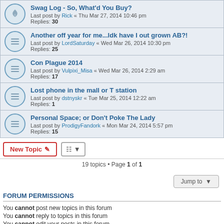Swag Log - So, What'd You Buy? Last post by Rick « Thu Mar 27, 2014 10:46 pm Replies: 30
Another off year for me...ldk have I out grown AB?! Last post by LordSaturday « Wed Mar 26, 2014 10:30 pm Replies: 25
Con Plague 2014 Last post by Vulpixi_Misa « Wed Mar 26, 2014 2:29 am Replies: 17
Lost phone in the mall or T station Last post by dstnyskr « Tue Mar 25, 2014 12:22 am Replies: 1
Personal Space; or Don't Poke The Lady Last post by ProdigyFandork « Mon Mar 24, 2014 5:57 pm Replies: 15
New Topic | 19 topics • Page 1 of 1
Jump to
FORUM PERMISSIONS
You cannot post new topics in this forum
You cannot reply to topics in this forum
You cannot edit your posts in this forum
You cannot delete your posts in this forum
You cannot post attachments in this forum